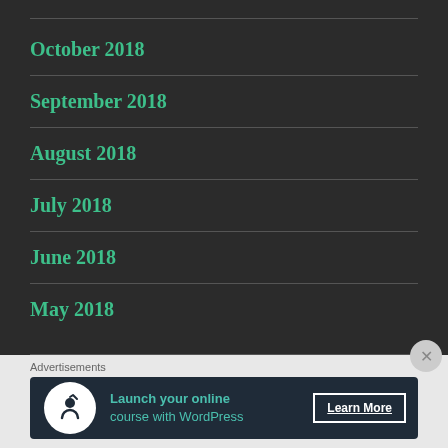October 2018
September 2018
August 2018
July 2018
June 2018
May 2018
Advertisements
[Figure (infographic): Advertisement banner: Launch your online course with WordPress — Learn More button]